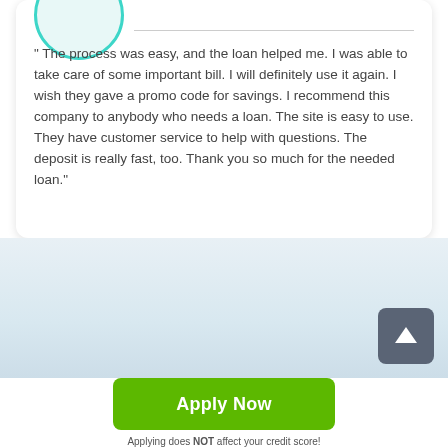" The process was easy, and the loan helped me. I was able to take care of some important bill. I will definitely use it again. I wish they gave a promo code for savings. I recommend this company to anybody who needs a loan. The site is easy to use. They have customer service to help with questions. The deposit is really fast, too. Thank you so much for the needed loan."
[Figure (other): Scroll to top button — dark gray rounded square with white upward arrow icon]
[Figure (other): Green Apply Now button]
Applying does NOT affect your credit score!
No credit check to apply.